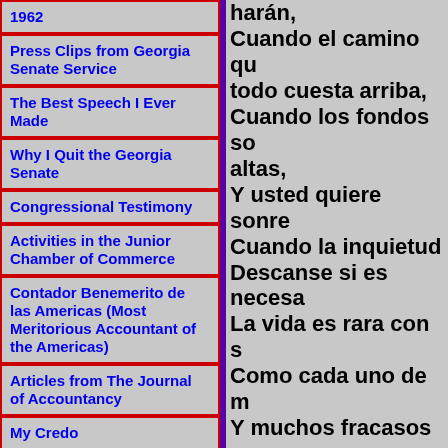1962
Press Clips from Georgia Senate Service
The Best Speech I Ever Made
Why I Quit the Georgia Senate
Congressional Testimony
Activities in the Junior Chamber of Commerce
Contador Benemerito de las Americas (Most Meritorious Accountant of the Americas)
Articles from The Journal of Accountancy
My Credo
Media
harán,
Cuando el camino qu todo cuesta arriba,
Cuando los fondos so altas,
Y usted quiere sonre Cuando la inquietud Descanse si es necesa La vida es rara con s Como cada uno de m Y muchos fracasos g Cuando uno podría h persistido.
No te rindas aunque Usted puede tener éx A menudo, el objetiv